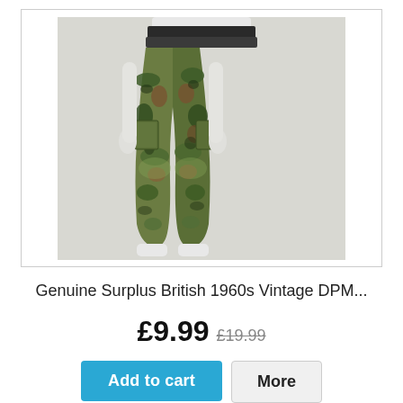[Figure (photo): A white mannequin wearing British DPM camouflage cargo trousers in green, brown, and black patterns, displayed against a light grey background. The torso is cut off at the top, showing only from the waist down to the ankles.]
Genuine Surplus British 1960s Vintage DPM...
£9.99 £19.99
Add to cart
More